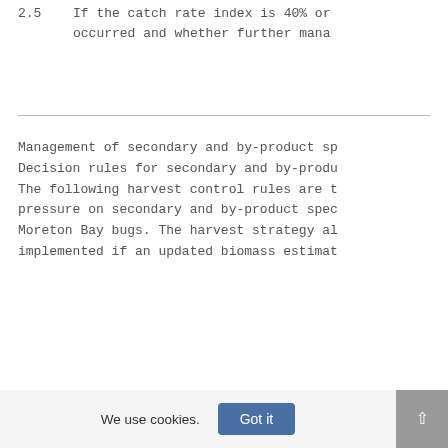2.5    If the catch rate index is 40% or occurred and whether further mana
Management of secondary and by-product sp Decision rules for secondary and by-produ The following harvest control rules are t pressure on secondary and by-product spec Moreton Bay bugs. The harvest strategy al implemented if an updated biomass estimat
We use cookies.  Got it